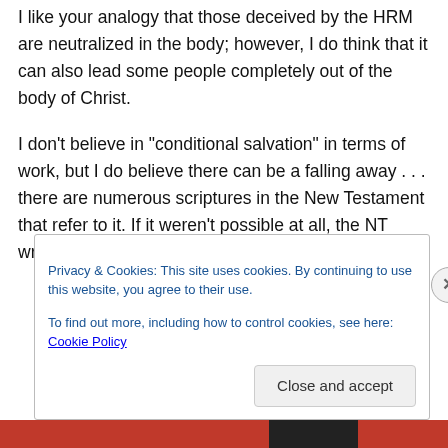I like your analogy that those deceived by the HRM are neutralized in the body; however, I do think that it can also lead some people completely out of the body of Christ.
I don't believe in “conditional salvation” in terms of work, but I do believe there can be a falling away . . . there are numerous scriptures in the New Testament that refer to it. If it weren’t possible at all, the NT writers spent quite a bit of time talking to no purpose.
Privacy & Cookies: This site uses cookies. By continuing to use this website, you agree to their use.
To find out more, including how to control cookies, see here: Cookie Policy